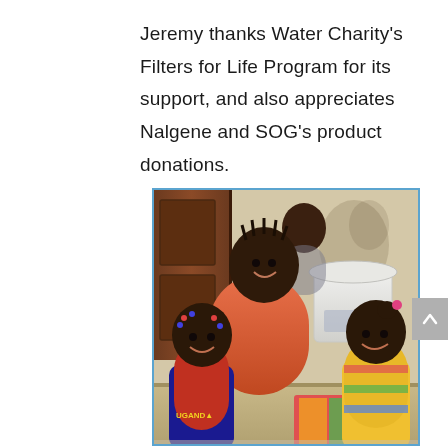Jeremy thanks Water Charity's Filters for Life Program for its support, and also appreciates Nalgene and SOG's product donations.
[Figure (photo): A woman and two young children posing indoors near a white water filter bucket. The woman is wearing a pink top and bending down smiling. One child wears a red Uganda shirt and the other wears a colorful outfit. There is a wooden door on the left and beige walls in the background.]